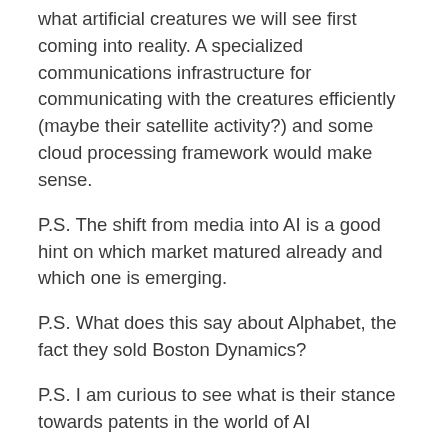what artificial creatures we will see first coming into reality. A specialized communications infrastructure for communicating with the creatures efficiently (maybe their satellite activity?) and some cloud processing framework would make sense.
P.S. The shift from media into AI is a good hint on which market matured already and which one is emerging.
P.S. What does this say about Alphabet, the fact they sold Boston Dynamics?
P.S. I am curious to see what is their stance towards patents in the world of AI
Posted on June 9, 2017 by Dudu Mimran